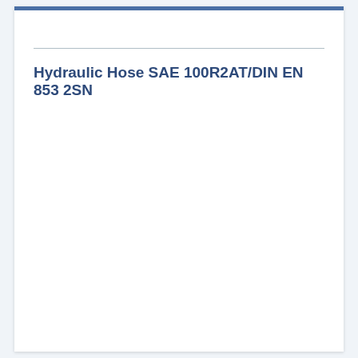Hydraulic Hose SAE 100R2AT/DIN EN 853 2SN